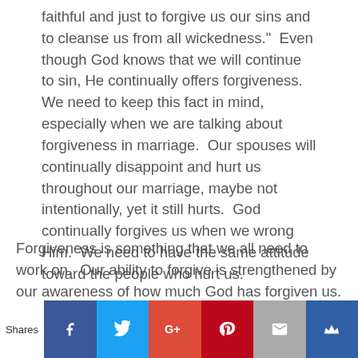faithful and just to forgive us our sins and to cleanse us from all wickedness."  Even though God knows that we will continue to sin, He continually offers forgiveness.  We need to keep this fact in mind, especially when we are talking about forgiveness in marriage.  Our spouses will continually disappoint and hurt us throughout our marriage, maybe not intentionally, yet it still hurts.  God continually forgives us when we wrong Him.  We need to have the same attitude toward the people who hurt us.
Forgiveness is something that we all need to work on.  Our ability to forgive is strengthened by our awareness of how much God has forgiven us.
Shares [Facebook] [Twitter] [Google+] [Pinterest] [Email] [Crown]